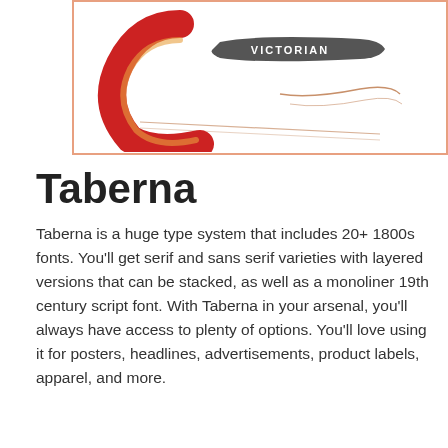[Figure (illustration): Partial view of a Victorian-style logo/illustration with red and gold lettering on a white background, with an orange decorative border. Text visible includes 'VICTORIAN' on a banner.]
Taberna
Taberna is a huge type system that includes 20+ 1800s fonts. You'll get serif and sans serif varieties with layered versions that can be stacked, as well as a monoliner 19th century script font. With Taberna in your arsenal, you'll always have access to plenty of options. You'll love using it for posters, headlines, advertisements, product labels, apparel, and more.
[Figure (illustration): Dark brown/black background with decorative scrollwork flourishes and 'latino type' logo text in white, above large display text 'TABERNA' in cream/white with red accent letters.]